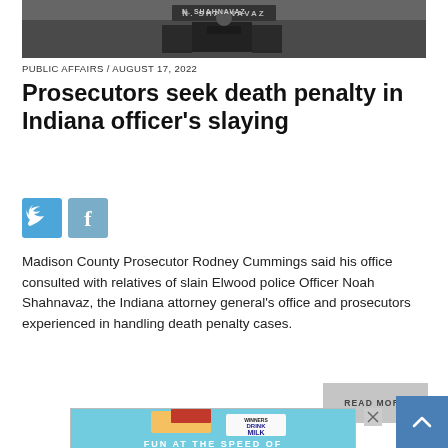[Figure (photo): Close-up photo of a police officer in tactical vest with name tag N. SHAHNAVAZ]
PUBLIC AFFAIRS / AUGUST 17, 2022
Prosecutors seek death penalty in Indiana officer's slaying
[Figure (infographic): Social media share buttons: Twitter (blue bird icon) and Facebook (blue f icon)]
Madison County Prosecutor Rodney Cummings said his office consulted with relatives of slain Elwood police Officer Noah Shahnavaz, the Indiana attorney general's office and prosecutors experienced in handling death penalty cases.
[Figure (other): READ MORE button (gray rectangle)]
[Figure (photo): Advertisement image: food item with text WINNERS DRINK MILK and FUN AT THE SPEED OF...]